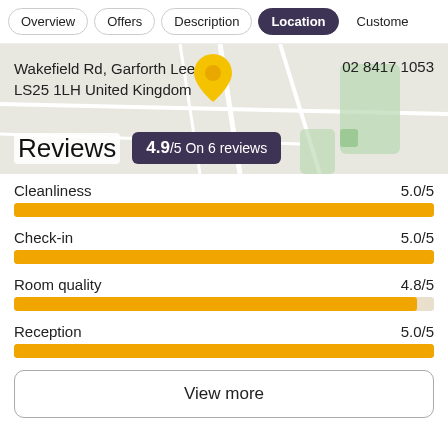Overview | Offers | Description | Location | Customer
[Figure (map): Map showing location at Wakefield Rd, Garforth Leeds LS25 1LH United Kingdom, phone 02 8417 1053, with a yellow map pin marker and road/green area overlays]
Reviews 4.9/5 On 6 reviews
Cleanliness 5.0/5
Check-in 5.0/5
Room quality 4.8/5
Reception 5.0/5
View more